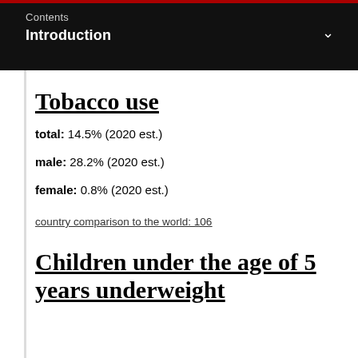Contents
Introduction
Tobacco use
total: 14.5% (2020 est.)
male: 28.2% (2020 est.)
female: 0.8% (2020 est.)
country comparison to the world: 106
Children under the age of 5 years underweight